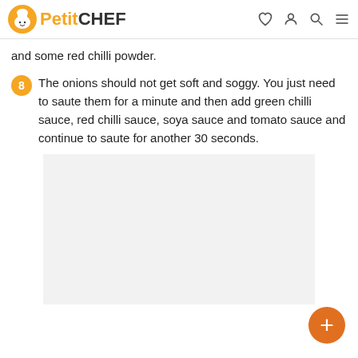PetitCHEF
and some red chilli powder.
8  The onions should not get soft and soggy. You just need to saute them for a minute and then add green chilli sauce, red chilli sauce, soya sauce and tomato sauce and continue to saute for another 30 seconds.
[Figure (photo): Food image placeholder (light gray rectangle)]